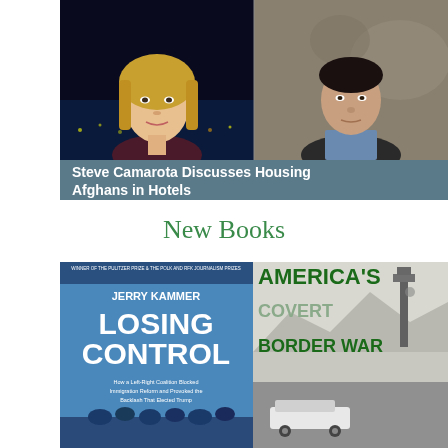[Figure (photo): Two people shown in split-screen video: a blonde woman on the left (TV anchor style) and a man on the right against a map background]
Steve Camarota Discusses Housing Afghans in Hotels
New Books
[Figure (photo): Book covers: 'Losing Control' by Jerry Kammer on the left (blue cover) and 'America's Covert Border War' on the right (black and white photo cover)]